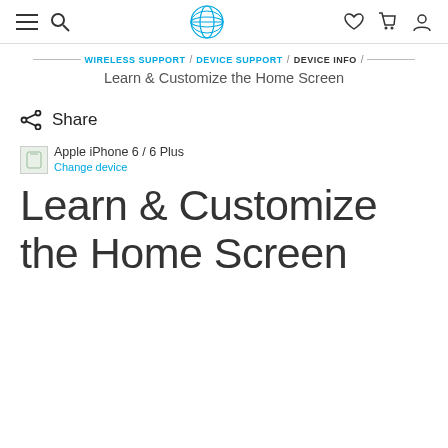AT&T navigation bar with hamburger menu, search, AT&T globe logo, heart, cart, and user icons
WIRELESS SUPPORT / DEVICE SUPPORT / DEVICE INFO / Learn & Customize the Home Screen
Share
Apple iPhone 6 / 6 Plus — Change device
Learn & Customize the Home Screen